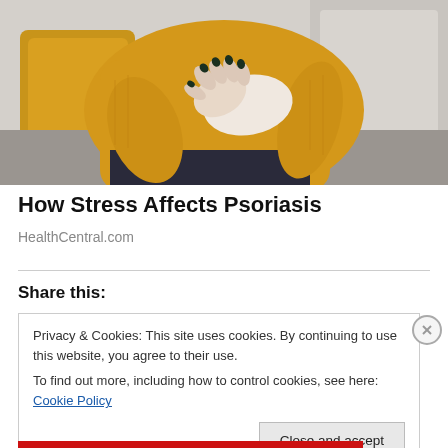[Figure (photo): A person wearing a yellow/mustard knit sweater scratching or holding their inner elbow/arm, sitting on a couch with yellow and grey pillows in the background.]
How Stress Affects Psoriasis
HealthCentral.com
Share this:
Privacy & Cookies: This site uses cookies. By continuing to use this website, you agree to their use.
To find out more, including how to control cookies, see here: Cookie Policy
Close and accept